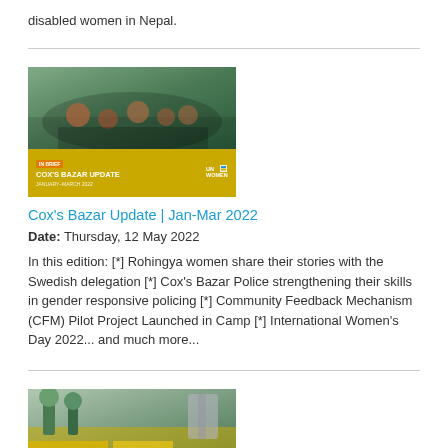disabled women in Nepal.
[Figure (photo): Cox's Bazar Update newsletter cover image showing women gathered indoors with a yellow banner reading 'IN BRIEF - COX'S BAZAR UPDATE' and UN Women logo]
Cox's Bazar Update | Jan-Mar 2022
Date: Thursday, 12 May 2022
In this edition: [*] Rohingya women share their stories with the Swedish delegation [*] Cox's Bazar Police strengthening their skills in gender responsive policing [*] Community Feedback Mechanism (CFM) Pilot Project Launched in Camp [*] International Women's Day 2022... and much more...
[Figure (photo): Outdoor scene with trees and buildings, partially visible at bottom of page]